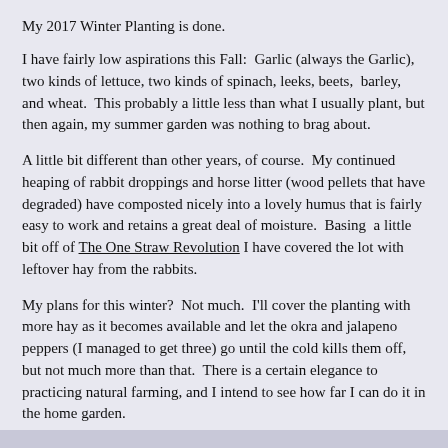My 2017 Winter Planting is done.
I have fairly low aspirations this Fall:  Garlic (always the Garlic), two kinds of lettuce, two kinds of spinach, leeks, beets,  barley, and wheat.  This probably a little less than what I usually plant, but then again, my summer garden was nothing to brag about.
A little bit different than other years, of course.  My continued heaping of rabbit droppings and horse litter (wood pellets that have degraded) have composted nicely into a lovely humus that is fairly easy to work and retains a great deal of moisture.  Basing  a little bit off of The One Straw Revolution I have covered the lot with leftover hay from the rabbits.
My plans for this winter?  Not much.  I'll cover the planting with more hay as it becomes available and let the okra and jalapeno peppers (I managed to get three) go until the cold kills them off, but not much more than that.  There is a certain elegance to practicing natural farming, and I intend to see how far I can do it in the home garden.